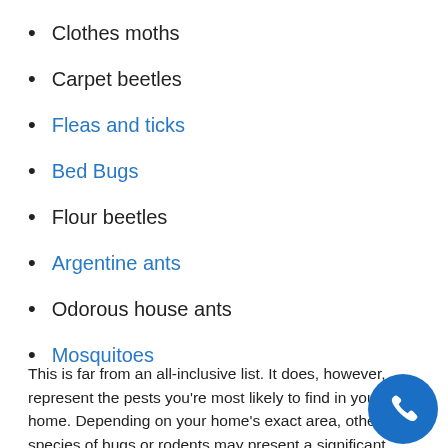Clothes moths
Carpet beetles
Fleas and ticks
Bed Bugs
Flour beetles
Argentine ants
Odorous house ants
Mosquitoes
This is far from an all-inclusive list. It does, however, represent the pests you’re most likely to find in your home. Depending on your home’s exact area, other species of bugs or rodents may present a significant problem.
What Are the Benefits of Regularly Scheduled Pest Control Services?